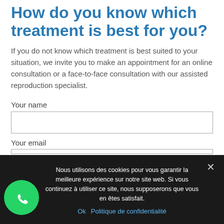How do you know which treatment is best for you?
If you do not know which treatment is best suited to your situation, we invite you to make an appointment for an online consultation or a face-to-face consultation with our assisted reproduction specialist.
Your name
Your email
Nous utilisons des cookies pour vous garantir la meilleure expérience sur notre site web. Si vous continuez à utiliser ce site, nous supposerons que vous en êtes satisfait.
Ok  Politique de confidentialité